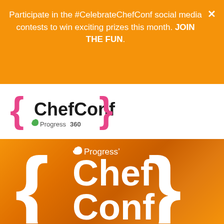Participate in the #CelebrateChefConf social media contests to win exciting prizes this month. JOIN THE FUN.
[Figure (logo): ChefConf Progress 360 logo with pink curly braces on white background]
[Figure (logo): Progress Chef Conf logo in white on orange gradient background with white curly braces]